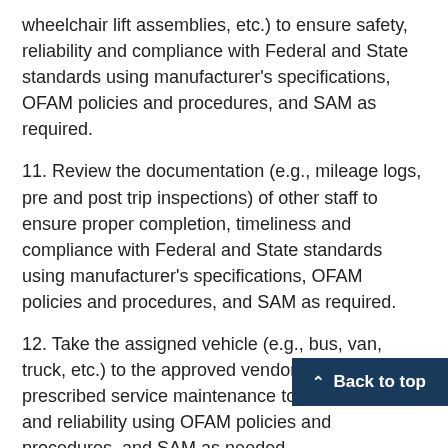wheelchair lift assemblies, etc.) to ensure safety, reliability and compliance with Federal and State standards using manufacturer's specifications, OFAM policies and procedures, and SAM as required.
11. Review the documentation (e.g., mileage logs, pre and post trip inspections) of other staff to ensure proper completion, timeliness and compliance with Federal and State standards using manufacturer's specifications, OFAM policies and procedures, and SAM as required.
12. Take the assigned vehicle (e.g., bus, van, truck, etc.) to the approved vendor facility for the prescribed service maintenance to maintain safety and reliability using OFAM policies and procedures, and SAM as needed.
13. Inspect outside vendor's repair sho... make recommendation to OFAM to become a